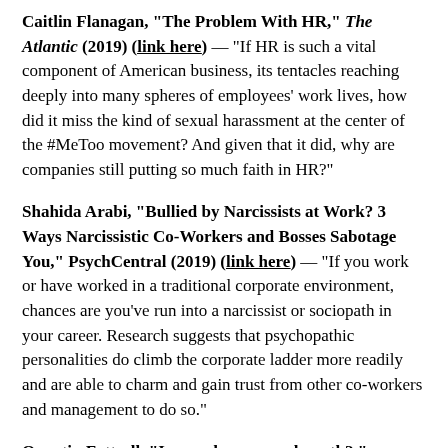Caitlin Flanagan, "The Problem With HR," The Atlantic (2019) (link here) — "If HR is such a vital component of American business, its tentacles reaching deeply into many spheres of employees' work lives, how did it miss the kind of sexual harassment at the center of the #MeToo movement? And given that it did, why are companies still putting so much faith in HR?"
Shahida Arabi, "Bullied by Narcissists at Work? 3 Ways Narcissistic Co-Workers and Bosses Sabotage You," PsychCentral (2019) (link here) — "If you work or have worked in a traditional corporate environment, chances are you've run into a narcissist or sociopath in your career. Research suggests that psychopathic personalities do climb the corporate ladder more readily and are able to charm and gain trust from other co-workers and management to do so."
Quentin Fottrell, "Is your boss a psychopath?," MarketWatch (2019) (link here) — "Do you ever wonder why the bad guy is in charge — and the good guy is pushing paper? There may be a reason for that. Bad bosses often promise the world, according to Deborah Ancona, a professor of leadership at MIT Sloan School of Management and founder of the MIT Leadership Center, and hard-working employees can be left...